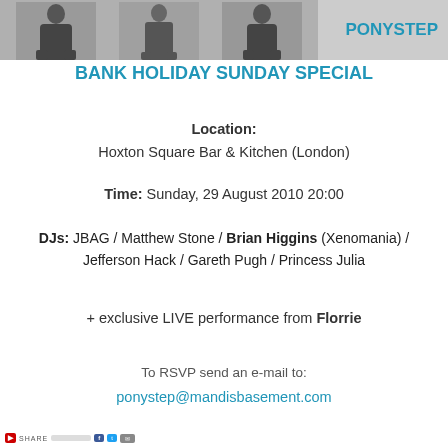[Figure (photo): Banner image showing three people silhouettes/photos side by side, with PONYSTEP text label on the right]
PONYSTEP BANK HOLIDAY SUNDAY SPECIAL
Location:
Hoxton Square Bar & Kitchen (London)
Time: Sunday, 29 August 2010 20:00
DJs: JBAG / Matthew Stone / Brian Higgins (Xenomania) / Jefferson Hack / Gareth Pugh / Princess Julia
+ exclusive LIVE performance from Florrie
To RSVP send an e-mail to:
ponystep@mandisbasement.com
Share bar with social media buttons